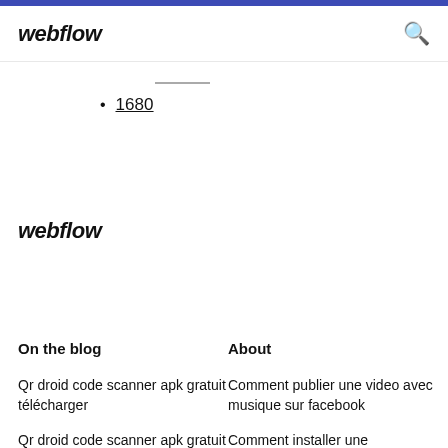webflow
1680
webflow
On the blog
About
Qr droid code scanner apk gratuit télécharger
Comment publier une video avec musique sur facebook
Qr droid code scanner apk gratuit télécharger
Comment installer une